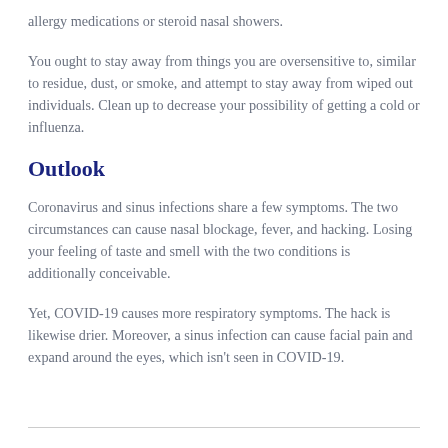allergy medications or steroid nasal showers.
You ought to stay away from things you are oversensitive to, similar to residue, dust, or smoke, and attempt to stay away from wiped out individuals. Clean up to decrease your possibility of getting a cold or influenza.
Outlook
Coronavirus and sinus infections share a few symptoms. The two circumstances can cause nasal blockage, fever, and hacking. Losing your feeling of taste and smell with the two conditions is additionally conceivable.
Yet, COVID-19 causes more respiratory symptoms. The hack is likewise drier. Moreover, a sinus infection can cause facial pain and expand around the eyes, which isn't seen in COVID-19.